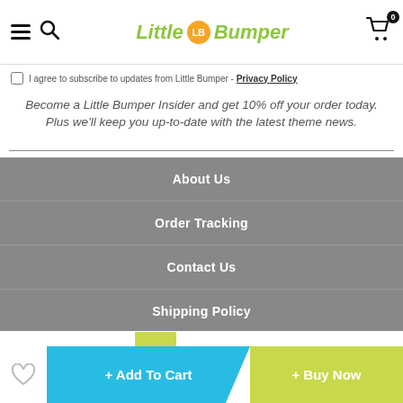Little LB Bumper
I agree to subscribe to updates from Little Bumper - Privacy Policy
Become a Little Bumper Insider and get 10% off your order today. Plus we'll keep you up-to-date with the latest theme news.
About Us
Order Tracking
Contact Us
Shipping Policy
.. people are viewing this item
+ Add To Cart
+ Buy Now